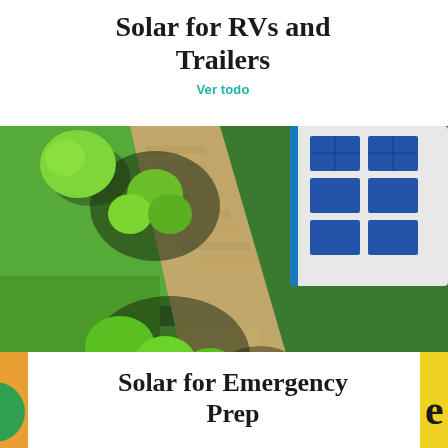Solar for RVs and Trailers
Ver todo
[Figure (photo): Aerial view of an RV with solar panels on roof parked next to a paved driveway surrounded by green trees and shrubs, top-down perspective]
Solar for Emergency Prep